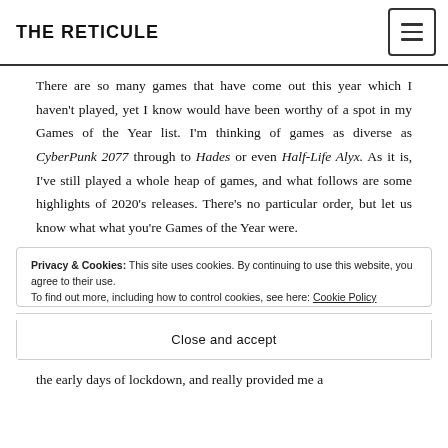THE RETICULE
There are so many games that have come out this year which I haven't played, yet I know would have been worthy of a spot in my Games of the Year list. I'm thinking of games as diverse as CyberPunk 2077 through to Hades or even Half-Life Alyx. As it is, I've still played a whole heap of games, and what follows are some highlights of 2020's releases. There's no particular order, but let us know what what you're Games of the Year were.
Privacy & Cookies: This site uses cookies. By continuing to use this website, you agree to their use. To find out more, including how to control cookies, see here: Cookie Policy
Close and accept
the early days of lockdown, and really provided me a